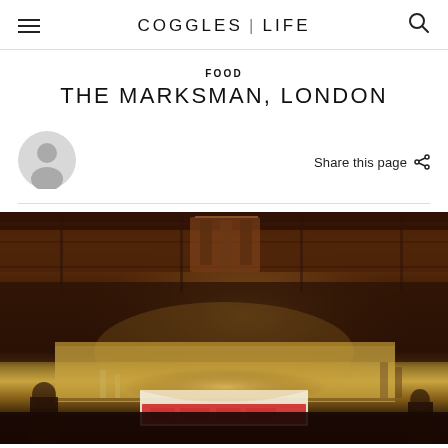COGGLES | LIFE
FOOD
THE MARKSMAN, LONDON
Share this page
[Figure (photo): Interior of The Marksman pub in London, showing dark wood paneling, warm amber lighting, a bar area with bottles and glasses, and a lit sign with red text. The image is warm-toned and slightly blurred/atmospheric.]